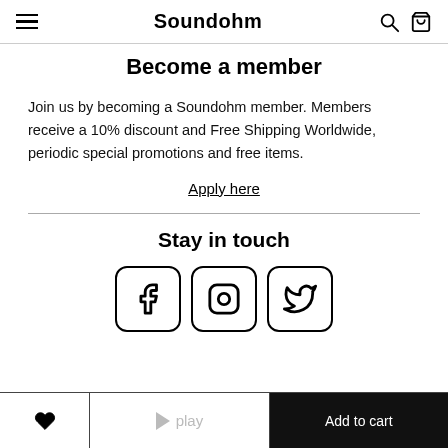Soundohm
Become a member
Join us by becoming a Soundohm member. Members receive a 10% discount and Free Shipping Worldwide, periodic special promotions and free items.
Apply here
Stay in touch
[Figure (other): Three social media icon buttons for Facebook, Instagram, and Twitter (X), each in a rounded square border.]
♥  play  Add to cart